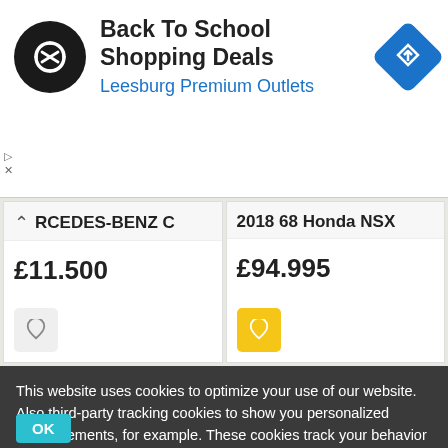[Figure (screenshot): Ad banner for Back To School Shopping Deals at Leesburg Premium Outlets with circular black logo and blue navigation icon]
RCEDES-BENZ C
£11.500
2018 68 Honda NSX
£94.995
This website uses cookies to optimize your use of our website. Also third-party tracking cookies to show you personalized advertisements, for example. These cookies track your behavior on the internet. If you continue to visit our website by placing a click, or by clicking agree after this, you agree to the placing of cookies and the processing of the data that we and our partners obtain as a result. More information
OK